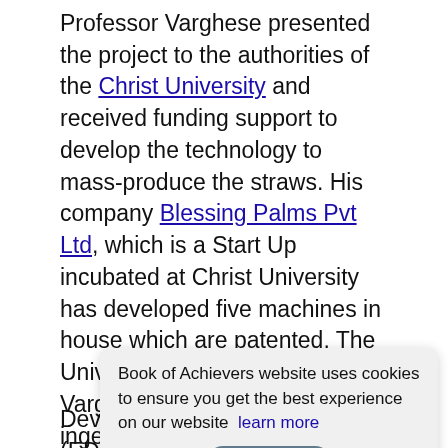Professor Varghese presented the project to the authorities of the Christ University and received funding support to develop the technology to mass-produce the straws. His company Blessing Palms Pvt Ltd, which is a Start Up incubated at Christ University has developed five machines in house which are patented. The University promoted Dr. Varghese's project, and this ingenious inventor did not stop at creating the revolutionary straws, but is now setting up production centres in the villages of coastal India where he installs the machinery and employs women from the communities to collect the fallen dr... the... Ma... is now receiving support from Entrepreneurship Development Institute of India (EDII) to set up
Book of Achievers website uses cookies to ensure you get the best experience on our website  learn more  Ok